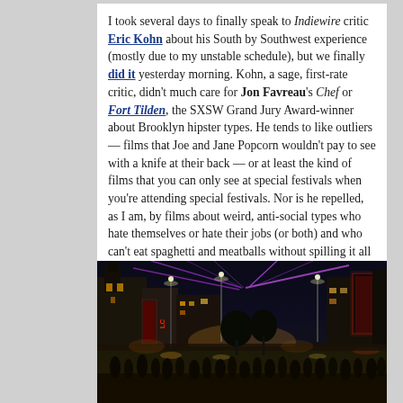I took several days to finally speak to Indiewire critic Eric Kohn about his South by Southwest experience (mostly due to my unstable schedule), but we finally did it yesterday morning. Kohn, a sage, first-rate critic, didn't much care for Jon Favreau's Chef or Fort Tilden, the SXSW Grand Jury Award-winner about Brooklyn hipster types. He tends to like outliers — films that Joe and Jane Popcorn wouldn't pay to see with a knife at their back — or at least the kind of films that you can only see at special festivals when you're attending special festivals. Nor is he repelled, as I am, by films about weird, anti-social types who hate themselves or hate their jobs (or both) and who can't eat spaghetti and meatballs without spilling it all over the white bathrobe they happen to be wearing. Yesterday I collected links to all of Kohn's favorites but now I can't find them, and I'm not going to listen to the interview and write them down all over again.
[Figure (photo): Night street scene at SXSW in Austin, Texas. A crowded street with neon signs, including a 'RITZ' sign on the right. Purple/blue laser lights in the sky. Buildings on both sides, large crowd of people in the street.]